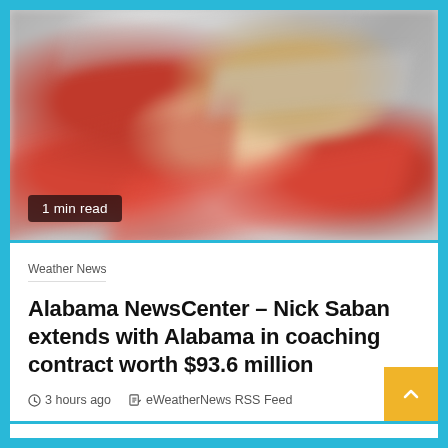[Figure (photo): Blurred action sports photo of a person wearing a straw hat with a red Nike band, surrounded by motion-blurred red and gray colors suggesting a crowd or field setting]
1 min read
Weather News
Alabama NewsCenter – Nick Saban extends with Alabama in coaching contract worth $93.6 million
3 hours ago   eWeatherNews RSS Feed